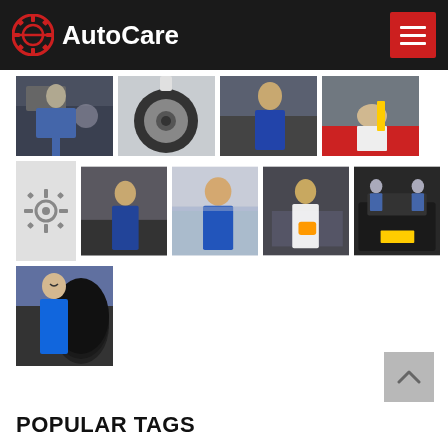AutoCare
[Figure (photo): Grid of auto care / mechanic workshop photos showing mechanics working on cars, tires, engine repair, and a smiling mechanic with tires]
POPULAR TAGS